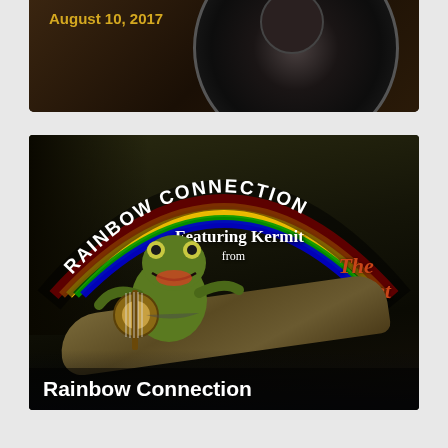[Figure (photo): Top portion of a vinyl record or cassette tape image with dark brown background, partially visible disc shape on the right side]
August 10, 2017
[Figure (photo): Album cover for Rainbow Connection featuring Kermit the Frog playing banjo on a log, from The Muppet Movie. The cover has a rainbow arc at the top with text 'RAINBOW CONNECTION' curved along it, 'Featuring Kermit' in white serif text, 'from' below that, and 'The Muppet Movie' in orange-red stylized text to the right. Kermit sits on a log in a swamp/forest setting in a sepia/green tinted photo.]
Rainbow Connection